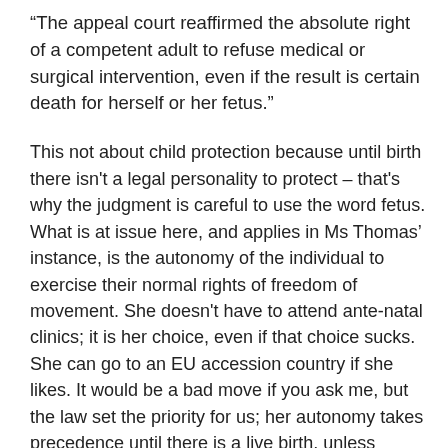“The appeal court reaffirmed the absolute right of a competent adult to refuse medical or surgical intervention, even if the result is certain death for herself or her fetus.”
This not about child protection because until birth there isn't a legal personality to protect – that's why the judgment is careful to use the word fetus. What is at issue here, and applies in Ms Thomas' instance, is the autonomy of the individual to exercise their normal rights of freedom of movement. She doesn't have to attend ante-natal clinics; it is her choice, even if that choice sucks. She can go to an EU accession country if she likes. It would be a bad move if you ask me, but the law set the priority for us; her autonomy takes precedence until there is a live birth, unless somebody goes to court and shows a correct application of the mental health acts. (The reason I say EU country is that will give her reciprocal health treatment if she wants it.) The social services